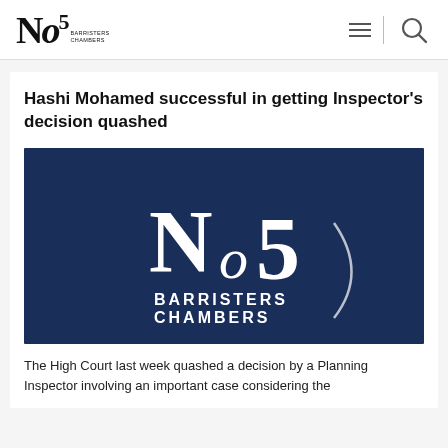No5 Barristers Chambers
Hashi Mohamed successful in getting Inspector's decision quashed
[Figure (logo): No5 Barristers Chambers logo — white serif text on dark navy background reading 'No5 BARRISTERS CHAMBERS']
The High Court last week quashed a decision by a Planning Inspector involving an important case considering the